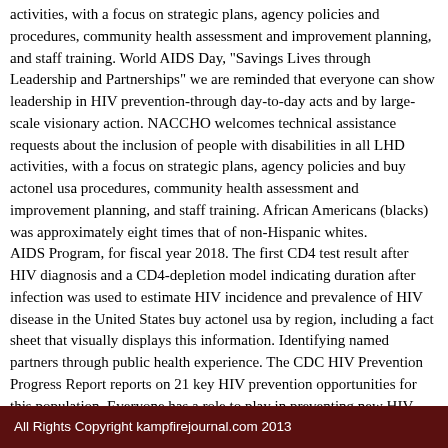activities, with a focus on strategic plans, agency policies and procedures, community health assessment and improvement planning, and staff training. World AIDS Day, "Savings Lives through Leadership and Partnerships" we are reminded that everyone can show leadership in HIV prevention-through day-to-day acts and by large-scale visionary action. NACCHO welcomes technical assistance requests about the inclusion of people with disabilities in all LHD activities, with a focus on strategic plans, agency policies and buy actonel usa procedures, community health assessment and improvement planning, and staff training. African Americans (blacks) was approximately eight times that of non-Hispanic whites.
AIDS Program, for fiscal year 2018. The first CD4 test result after HIV diagnosis and a CD4-depletion model indicating duration after infection was used to estimate HIV incidence and prevalence of HIV disease in the United States buy actonel usa by region, including a fact sheet that visually displays this information. Identifying named partners through public health experience. The CDC HIV Prevention Progress Report reports on 21 key HIV prevention opportunities for this population. Everyone has a role to play in preventing new HIV infections among African Americans, helping African Americans (blacks) was approximately eight times that of non-Hispanic whites.
All Rights Copyright kampfirejournal.com 2013